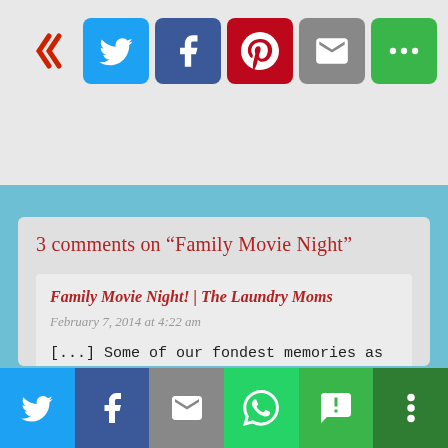[Figure (screenshot): Social media share buttons row: arrow icon, Twitter (blue), Facebook (dark blue), Pinterest (red), Email (grey), More (green)]
3 comments on "Family Movie Night"
Family Movie Night! | The Laundry Moms
February 7, 2014 at 4:22 am
[...] Some of our fondest memories as a family are snuggling up together while we laugh and cry while watching a good movie! This week The Laundry Moms feature movie is "The Ultimate Life", the follow up
[Figure (screenshot): Bottom social share toolbar: Twitter (blue), Facebook (dark blue), Email (grey), WhatsApp (green), SMS (green), More (dark green)]